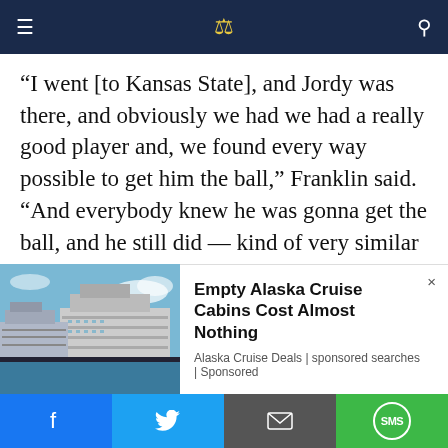Cruise News (navigation bar with logo and search)
“I went [to Kansas State], and Jordy was there, and obviously we had we had a really good player and, we found every way possible to get him the ball,” Franklin said. “And everybody knew he was gonna get the ball, and he still did — kind of very similar to Jahan. So Jahan, everybody knew we were going to get him the ball here, and he just continued to do it week in and week out.”
To finish the conversation, Eisen asked Franklin
[Figure (photo): Photo of large cruise ships docked, used as advertisement image for Alaska Cruise Deals]
Empty Alaska Cruise Cabins Cost Almost Nothing
Alaska Cruise Deals | sponsored searches | Sponsored
Social sharing bar: Facebook, Twitter, Email, SMS